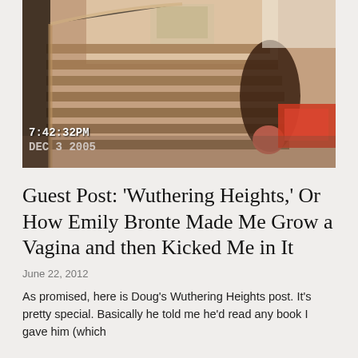[Figure (photo): A timestamped home video still showing a staircase in a home interior. The timestamp reads '7:42:32PM DEC 3 2005' overlaid in white monospace text at the bottom left. The staircase has brown/tan carpet steps. There is a dark figure or object on the right side of the stairs, and what appears to be a red object at the lower right. The top center shows a light-colored box or container.]
Guest Post: 'Wuthering Heights,' Or How Emily Bronte Made Me Grow a Vagina and then Kicked Me in It
June 22, 2012
As promised, here is Doug's Wuthering Heights post. It's pretty special. Basically he told me he'd read any book I gave him (which